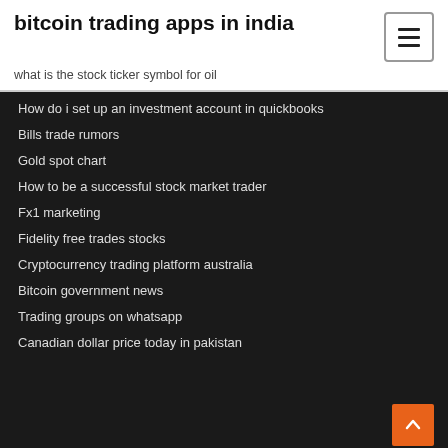bitcoin trading apps in india
what is the stock ticker symbol for oil
How do i set up an investment account in quickbooks
Bills trade rumors
Gold spot chart
How to be a successful stock market trader
Fx1 marketing
Fidelity free trades stocks
Cryptocurrency trading platform australia
Bitcoin government news
Trading groups on whatsapp
Canadian dollar price today in pakistan